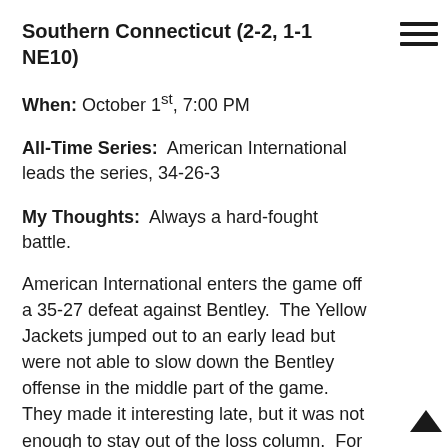Southern Connecticut (2-2, 1-1 NE10)
When: October 1st, 7:00 PM
All-Time Series:  American International leads the series, 34-26-3
My Thoughts:  Always a hard-fought battle.
American International enters the game off a 35-27 defeat against Bentley.  The Yellow Jackets jumped out to an early lead but were not able to slow down the Bentley offense in the middle part of the game.  They made it interesting late, but it was not enough to stay out of the loss column.  For American International to win on the road, they will need to play mistake free on both sides of the ball